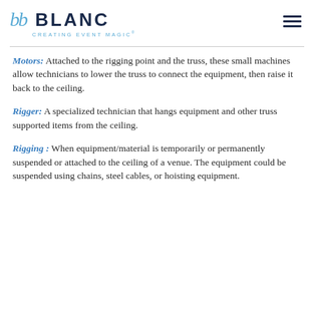[Figure (logo): bb Blanc logo with tagline CREATING EVENT MAGIC and hamburger menu icon]
Motors: Attached to the rigging point and the truss, these small machines allow technicians to lower the truss to connect the equipment, then raise it back to the ceiling.
Rigger: A specialized technician that hangs equipment and other truss supported items from the ceiling.
Rigging : When equipment/material is temporarily or permanently suspended or attached to the ceiling of a venue. The equipment could be suspended using chains, steel cables, or hoisting equipment.